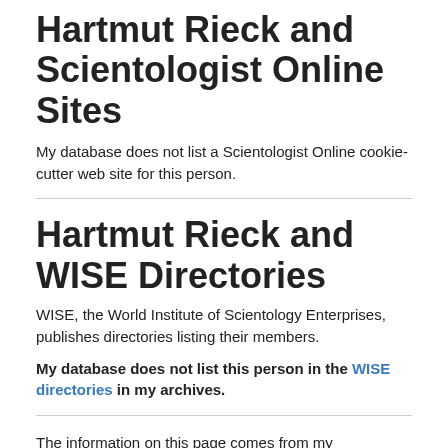Hartmut Rieck and Scientologist Online Sites
My database does not list a Scientologist Online cookie-cutter web site for this person.
Hartmut Rieck and WISE Directories
WISE, the World Institute of Scientology Enterprises, publishes directories listing their members.
My database does not list this person in the WISE directories in my archives.
The information on this page comes from my Scientology Statistics database. While I attempt to be as accurate as possible, errors or inaccuracies may be introduced by the source material, the transcription process, or database bugs. If you discover an error or